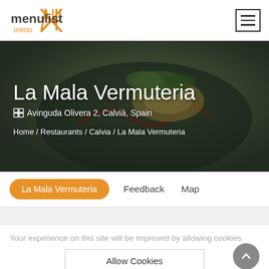menulist .menu
[Figure (photo): Food photo background: plated dish with greens and sauce on dark plate, used as hero banner image]
La Mala Vermuteria
Avinguda Olivera 2, Calvià, Spain
Home / Restaurants / Calvia / La Mala Vermuteria
La Mala Vermuteria   Feedback   Map
Your experience on this site will be improved by allowing cookies.
Allow Cookies